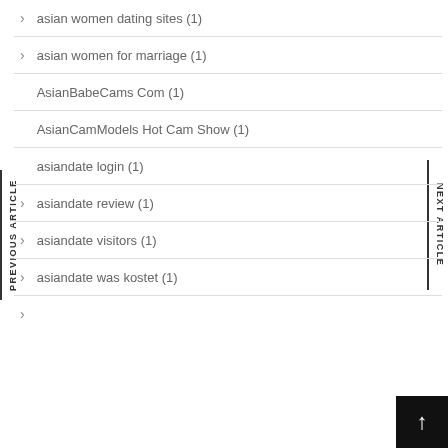asian women dating sites (1)
asian women for marriage (1)
AsianBabeCams Com (1)
AsianCamModels Hot Cam Show (1)
asiandate login (1)
asiandate review (1)
asiandate visitors (1)
asiandate was kostet (1)